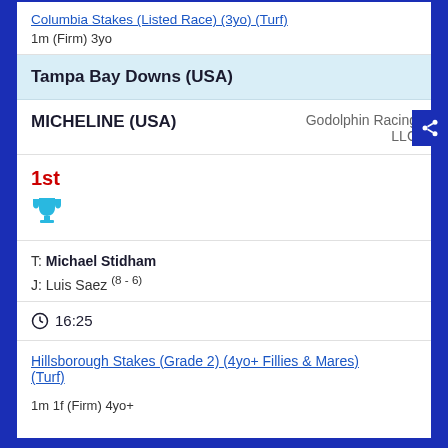Columbia Stakes (Listed Race) (3yo) (Turf)
1m (Firm) 3yo
Tampa Bay Downs (USA)
MICHELINE (USA)
Godolphin Racing LLC
1st
T: Michael Stidham
J: Luis Saez (8 - 6)
16:25
Hillsborough Stakes (Grade 2) (4yo+ Fillies & Mares) (Turf)
1m 1f (Firm) 4yo+